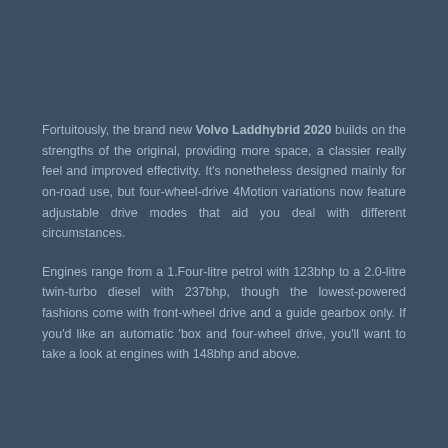Fortuitously, the brand new Volvo Laddhybrid 2020 builds on the strengths of the original, providing more space, a classier really feel and improved effectivity. It's nonetheless designed mainly for on-road use, but four-wheel-drive 4Motion variations now feature adjustable drive modes that aid you deal with different circumstances.
Engines range from a 1.Four-litre petrol with 123bhp to a 2.0-litre twin-turbo diesel with 237bhp, though the lowest-powered fashions come with front-wheel drive and a guide gearbox only. If you'd like an automatic ‘box and four-wheel drive, you’ll want to take a look at engines with 148bhp and above.